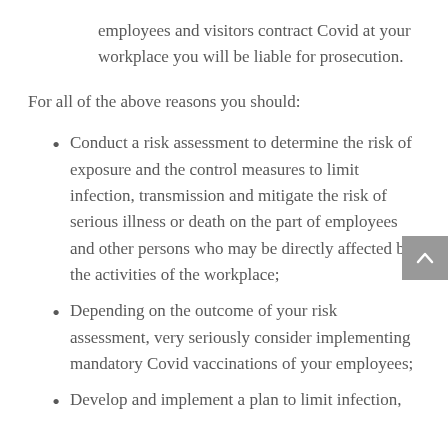employees and visitors contract Covid at your workplace you will be liable for prosecution.
For all of the above reasons you should:
Conduct a risk assessment to determine the risk of exposure and the control measures to limit infection, transmission and mitigate the risk of serious illness or death on the part of employees and other persons who may be directly affected by the activities of the workplace;
Depending on the outcome of your risk assessment, very seriously consider implementing mandatory Covid vaccinations of your employees;
Develop and implement a plan to limit infection,